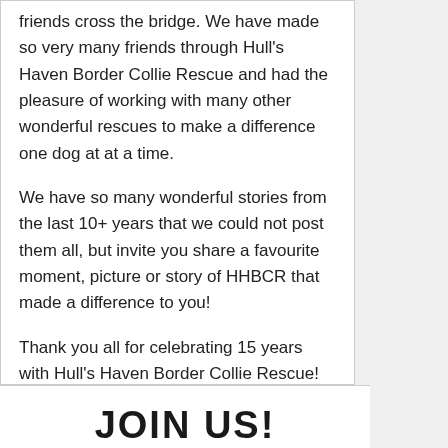friends cross the bridge. We have made so very many friends through Hull's Haven Border Collie Rescue and had the pleasure of working with many other wonderful rescues to make a difference one dog at at a time.
We have so many wonderful stories from the last 10+ years that we could not post them all, but invite you share a favourite moment, picture or story of HHBCR that made a difference to you!
Thank you all for celebrating 15 years with Hull's Haven Border Collie Rescue!
JOIN US!